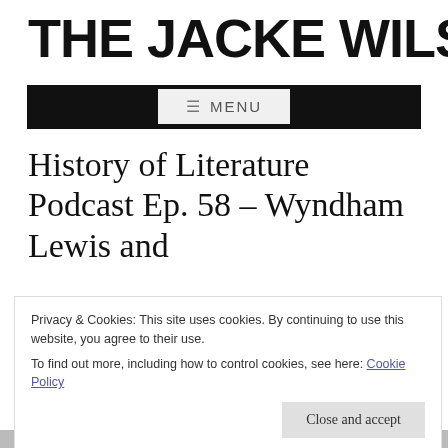THE JACKE WILSON BLO
≡ MENU
History of Literature Podcast Ep. 58 – Wyndham Lewis and
Privacy & Cookies: This site uses cookies. By continuing to use this website, you agree to their use.
To find out more, including how to control cookies, see here: Cookie Policy
Close and accept